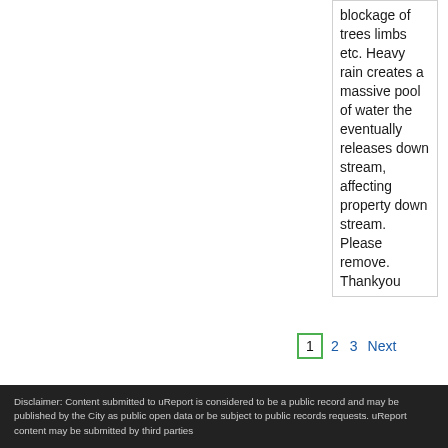blockage of trees limbs etc. Heavy rain creates a massive pool of water the eventually releases down stream, affecting property down stream. Please remove. Thankyou
1  2  3  Next
Disclaimer: Content submitted to uReport is considered to be a public record and may be published by the City as public open data or be subject to public records requests. uReport content may be submitted by third parties